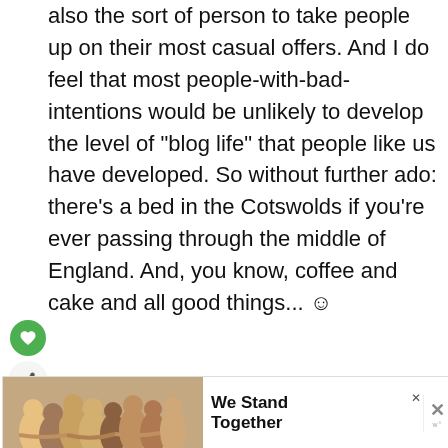also the sort of person to take people up on their most casual offers. And I do feel that most people-with-bad-intentions would be unlikely to develop the level of "blog life" that people like us have developed. So without further ado: there's a bed in the Cotswolds if you're ever passing through the middle of England. And, you know, coffee and cake and all good things... ☺
Reply
[Figure (infographic): Advertisement banner with group of people photo on left and 'We Stand Together' text on right with close/W logo buttons]